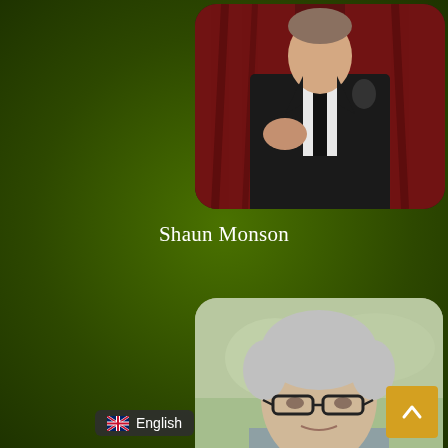[Figure (photo): Man in dark suit holding a microphone, speaking on stage with red curtain background]
Shaun Monson
[Figure (photo): Older man with grey hair and glasses in outdoor setting]
English
[Figure (other): Scroll-to-top button with up arrow, gold/yellow background]